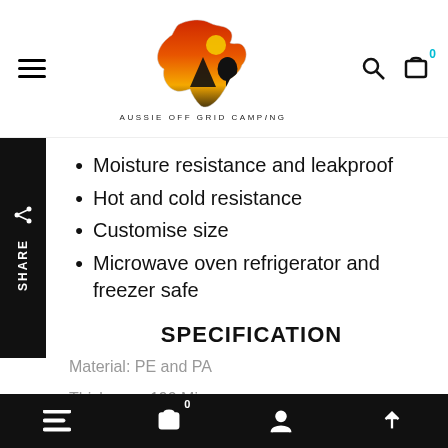[Figure (logo): Aussie Off Grid Camping logo - map of Australia silhouette with sunset/fire gradient background and a tree, with text AUSSIE OFF GRID CAMPING below]
Moisture resistance and leakproof
Hot and cold resistance
Customise size
Microwave oven refrigerator and freezer safe
SPECIFICATION
Material: PE and PA
Thickness: 190 Microns